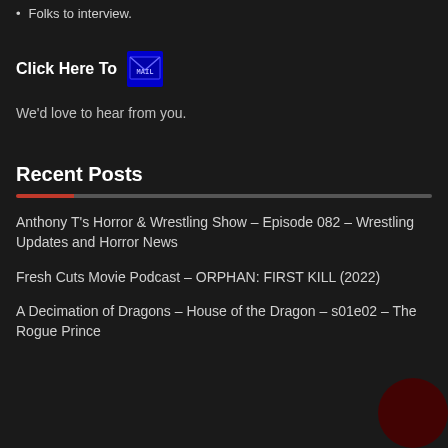Folks to interview.
Click Here To [mail icon]
We'd love to hear from you.
Recent Posts
Anthony T's Horror & Wrestling Show – Episode 082 – Wrestling Updates and Horror News
Fresh Cuts Movie Podcast – ORPHAN: FIRST KILL (2022)
A Decimation of Dragons – House of the Dragon – s01e02 – The Rogue Prince